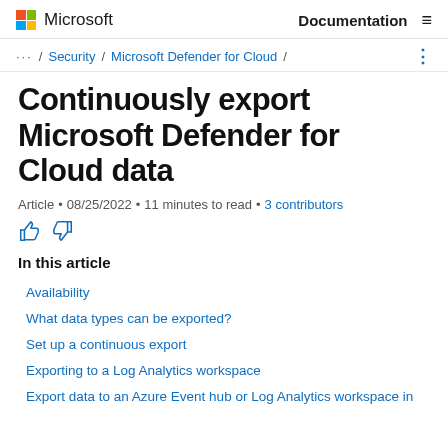Microsoft  Documentation
... / Security / Microsoft Defender for Cloud /
Continuously export Microsoft Defender for Cloud data
Article • 08/25/2022 • 11 minutes to read • 3 contributors
In this article
Availability
What data types can be exported?
Set up a continuous export
Exporting to a Log Analytics workspace
Export data to an Azure Event hub or Log Analytics workspace in